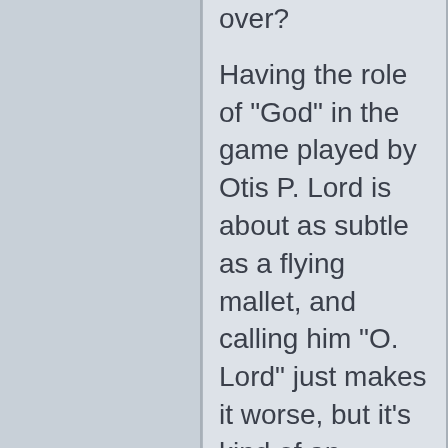over?

Having the role of "God" in the game played by Otis P. Lord is about as subtle as a flying mallet, and calling him "O. Lord" just makes it worse, but it's kind of an interesting exercise to read some of the exchanges as prayers and responses. And finally you get God's head stuck inside a